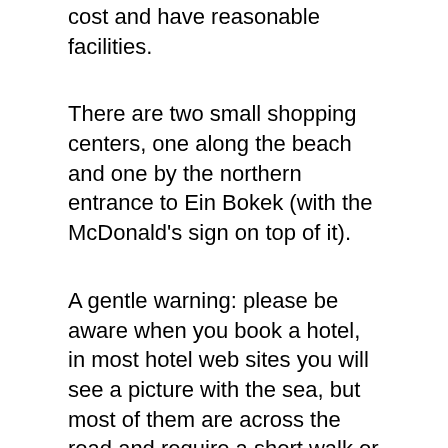cost and have reasonable facilities.
There are two small shopping centers, one along the beach and one by the northern entrance to Ein Bokek (with the McDonald's sign on top of it).
A gentle warning: please be aware when you book a hotel, in most hotel web sites you will see a picture with the sea, but most of them are across the road and require a short walk or a ride to the beach. It is recommended to select a hotel with a beach nearby – although almost all of them have a salt water spa with sea water inside the hotel.
The hotels on the beach at the Dead Sea hotel resort center include (from North to South): Hod, Tsel Harim, Holiday Inn Crowne Plaza, Lot, the Leonardo Dead Sea Hotels, the Leonardo Plaza